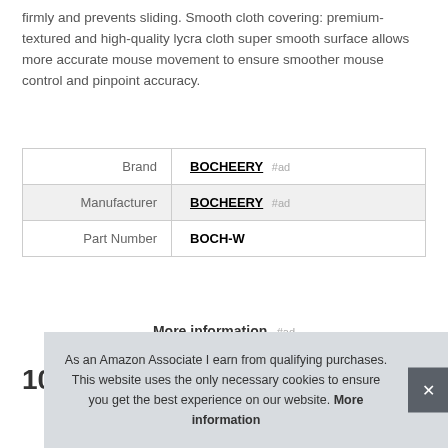firmly and prevents sliding. Smooth cloth covering: premium-textured and high-quality lycra cloth super smooth surface allows more accurate mouse movement to ensure smoother mouse control and pinpoint accuracy.
| Brand | BOCHEERY #ad |
| Manufacturer | BOCHEERY #ad |
| Part Number | BOCH-W |
More information #ad
As an Amazon Associate I earn from qualifying purchases. This website uses the only necessary cookies to ensure you get the best experience on our website. More information